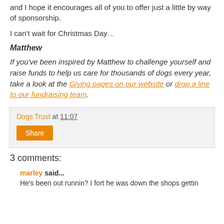and I hope it encourages all of you to offer just a little by way of sponsorship.
I can't wait for Christmas Day…
Matthew
If you've been inspired by Matthew to challenge yourself and raise funds to help us care for thousands of dogs every year, take a look at the Giving pages on our website or drop a line to our fundraising team.
Dogs Trust at 11:07
Share
3 comments:
marley said... He's been out runnin? I fort he was down the shops gettin